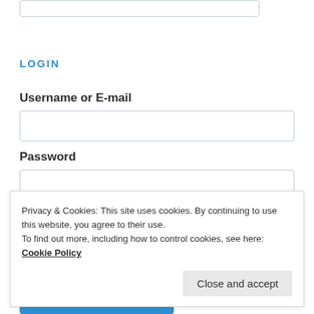LOGIN
Username or E-mail
Password
Privacy & Cookies: This site uses cookies. By continuing to use this website, you agree to their use. To find out more, including how to control cookies, see here: Cookie Policy
Close and accept